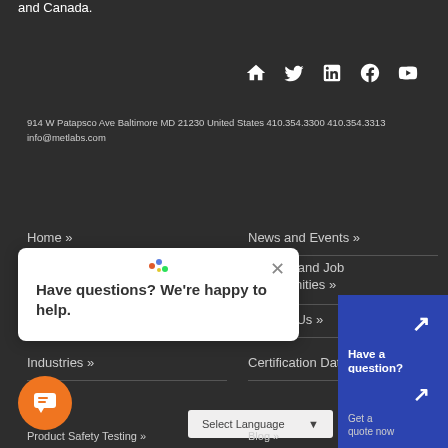and Canada.
[Figure (illustration): Social media icons row: home, twitter, linkedin, facebook, youtube]
914 W Patapsco Ave Baltimore MD 21230 United States  410.354.3300  410.354.3313
info@metlabs.com
Home »
News and Events »
Careers and Job Opportunities »
Contact Us »
[Figure (screenshot): Chat popup overlay with spinner, close X button, and text: Have questions? We're happy to help.]
Industries »
Certification Databa...
[Figure (illustration): Orange circular chat button with chat icon]
[Figure (illustration): Blue CTA panel with arrow icon, text: Have a question? CONTACT US.]
Select Language
[Figure (illustration): Second blue CTA panel: arrow icon, Get a quote now]
Product Safety Testing »
Blog »